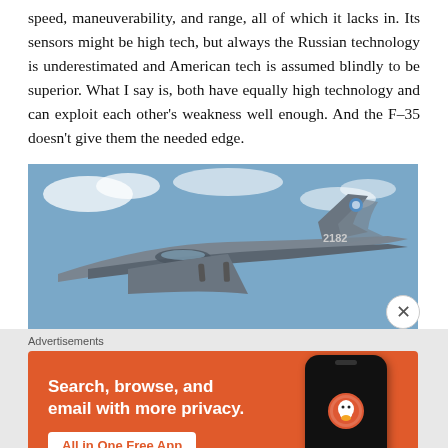speed, maneuverability, and range, all of which it lacks in. Its sensors might be high tech, but always the Russian technology is underestimated and American tech is assumed blindly to be superior. What I say is, both have equally high technology and can exploit each other's weakness well enough. And the F-35 doesn't give them the needed edge.
[Figure (photo): A military fighter jet photographed from below against a blue sky with clouds. Tail number 2182 visible on the aircraft.]
Advertisements
[Figure (screenshot): DuckDuckGo advertisement banner with orange background. Text reads: Search, browse, and email with more privacy. All in One Free App. Shows a phone mockup with DuckDuckGo logo.]